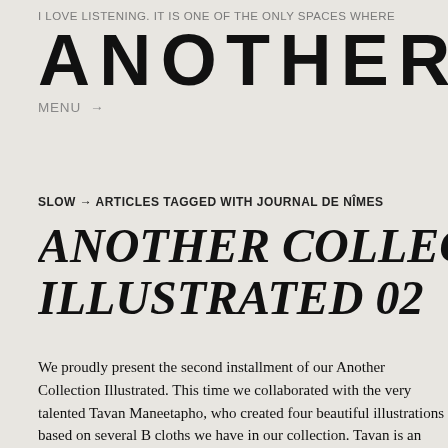I LOVE LISTENING. IT IS ONE OF THE ONLY SPACES WHERE
ANOTHER SOME
MENU →
SLOW → ARTICLES TAGGED WITH JOURNAL DE NÎMES
ANOTHER COLLECTION ILLUSTRATED 02
We proudly present the second installment of our Another Collection Illustrated. This time we collaborated with the very talented Tavan Maneetapho, who created four beautiful illustrations based on several E cloths we have in our collection. Tavan is an animator and illustrator cu finishing up her third year at Kingston University, London. She combin traditional and digital techniques and tends to draw inspiration from he background. The culture and symbolism in Thailand can often be mysti and alluring and definitely filters through to her work. She tries to communicate these ideas using imagery only and hopes that they are th